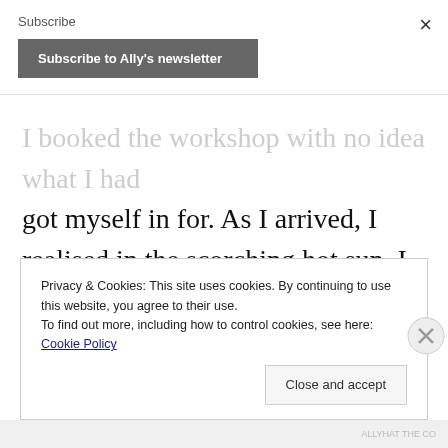Subscribe
Subscribe to Ally's newsletter
I booked the workshop with no idea what I had got myself in for. As I arrived, I realised in the scorching hot sun, I had forgot to bring my bottle of water and was about to spend two hours in a container.
Privacy & Cookies: This site uses cookies. By continuing to use this website, you agree to their use.
To find out more, including how to control cookies, see here: Cookie Policy
Close and accept